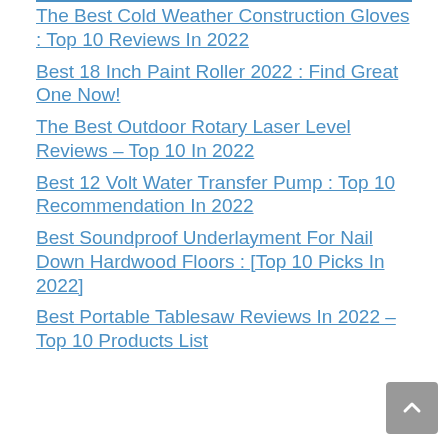The Best Cold Weather Construction Gloves : Top 10 Reviews In 2022
Best 18 Inch Paint Roller 2022 : Find Great One Now!
The Best Outdoor Rotary Laser Level Reviews – Top 10 In 2022
Best 12 Volt Water Transfer Pump : Top 10 Recommendation In 2022
Best Soundproof Underlayment For Nail Down Hardwood Floors : [Top 10 Picks In 2022]
Best Portable Tablesaw Reviews In 2022 – Top 10 Products List